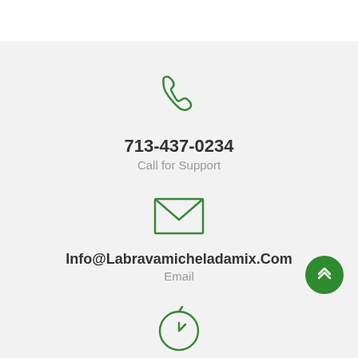[Figure (illustration): Green outline phone handset icon]
713-437-0234
Call for Support
[Figure (illustration): Green outline envelope/email icon]
Info@Labravamicheladamix.Com
Email
[Figure (illustration): Green outline clock/timer icon]
Everyday 24/7